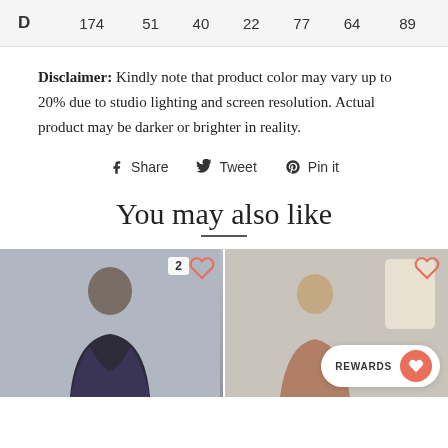| D | 174 | 51 | 40 | 22 | 77 | 64 | 89 |
| --- | --- | --- | --- | --- | --- | --- | --- |
Disclaimer: Kindly note that product color may vary up to 20% due to studio lighting and screen resolution. Actual product may be darker or brighter in reality.
Share  Tweet  Pin it
You may also like
[Figure (photo): Product thumbnail showing a woman in a floral top, with a heart icon and count of 2]
[Figure (photo): Product thumbnail with a rewards button overlay showing heart/gift icon]